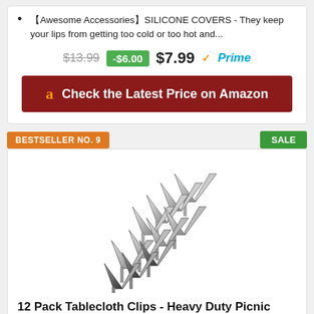【Awesome Accessories】SILICONE COVERS - They keep your lips from getting too cold or too hot and...
$13.99  -$6.00  $7.99 ✓Prime
a  Check the Latest Price on Amazon
BESTSELLER NO. 9
SALE
[Figure (photo): 12 pack of heavy duty stainless steel tablecloth clips arranged in a group, showing V-shaped metal clips]
12 Pack Tablecloth Clips - Heavy Duty Picnic Table Clips,...